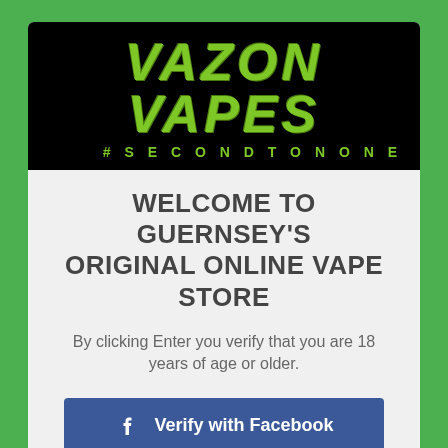[Figure (logo): Vazon Vapes logo on black background with green grunge text and #SECONDTONONE tagline]
WELCOME TO GUERNSEY'S ORIGINAL ONLINE VAPE STORE
By clicking Enter you verify that you are 18 years of age or older.
[Figure (screenshot): Verify with Facebook button in blue with Facebook icon]
[Figure (screenshot): Date of birth selectors: January dropdown, 1 dropdown, 2022 dropdown with red borders]
incorrect or inaccurate information, whether caused by website [redacted] of the [redacted]